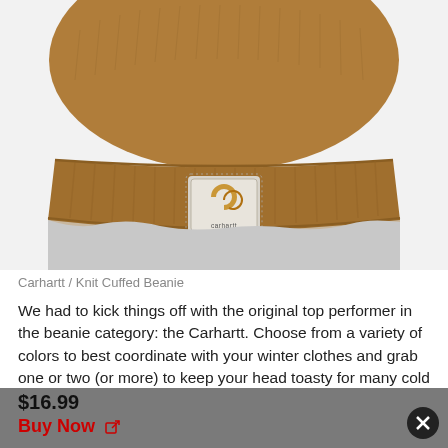[Figure (photo): Close-up photo of a brown Carhartt knit cuffed beanie hat with the Carhartt logo patch visible on the cuff]
Carhartt / Knit Cuffed Beanie
We had to kick things off with the original top performer in the beanie category: the Carhartt. Choose from a variety of colors to best coordinate with your winter clothes and grab one or two (or more) to keep your head toasty for many cold seasons to come.
$16.99
Buy Now